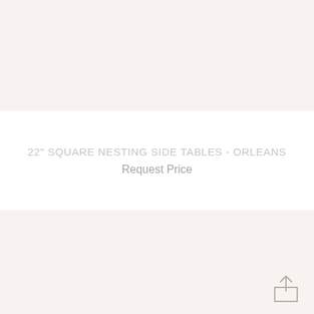[Figure (other): Top decorative band with warm off-white/blush background color]
22" SQUARE NESTING SIDE TABLES - ORLEANS
Request Price
[Figure (other): Bottom decorative band with warm off-white/blush background color]
[Figure (illustration): Share/upload icon: a box with an upward arrow, in light gray color, positioned in bottom right corner]